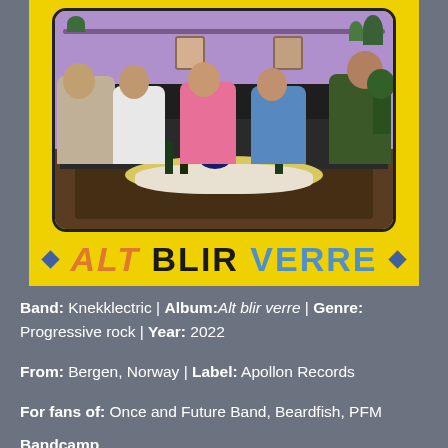[Figure (illustration): Album cover for 'Alt blir verre' by Knekklectric. Yellow background with a painted scene of five people sitting around a table with drinks and food. Purple/violet wall behind them. Title text 'ALT BLIR VERRE' in bold mixed-color lettering at bottom, with blue diamond decorations on each side.]
Band: Knekklectric | Album: Alt blir verre | Genre: Progressive rock | Year: 2022
From: Bergen, Norway | Label: Apollon Records
For fans of: Once and Future Band, Beardfish, PFM
Bandcamp